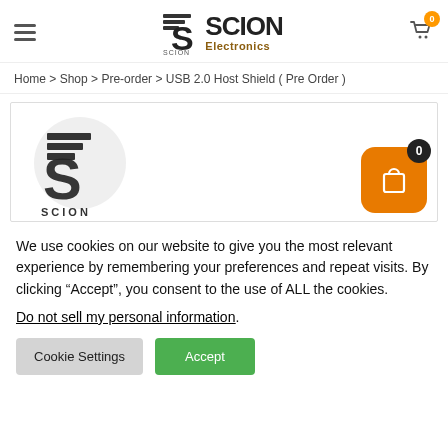SCION Electronics — Navigation header with hamburger menu and cart icon (0 items)
Home > Shop > Pre-order > USB 2.0 Host Shield ( Pre Order )
[Figure (logo): Scion Electronics logo with stylized S icon and globe background, SCION wordmark, and floating cart button with 0 badge]
We use cookies on our website to give you the most relevant experience by remembering your preferences and repeat visits. By clicking “Accept”, you consent to the use of ALL the cookies. Do not sell my personal information.
Cookie Settings  Accept